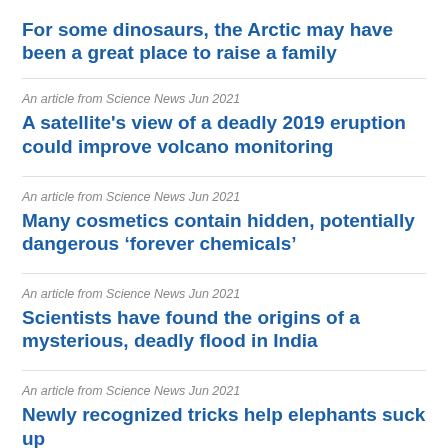For some dinosaurs, the Arctic may have been a great place to raise a family
An article from Science News Jun 2021
A satellite's view of a deadly 2019 eruption could improve volcano monitoring
An article from Science News Jun 2021
Many cosmetics contain hidden, potentially dangerous 'forever chemicals'
An article from Science News Jun 2021
Scientists have found the origins of a mysterious, deadly flood in India
An article from Science News Jun 2021
Newly recognized tricks help elephants suck up